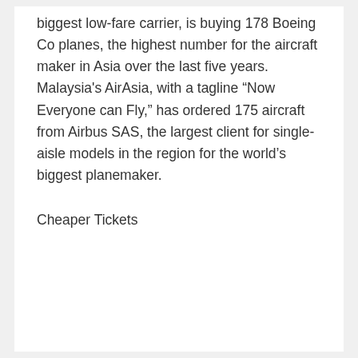biggest low-fare carrier, is buying 178 Boeing Co planes, the highest number for the aircraft maker in Asia over the last five years. Malaysia's AirAsia, with a tagline “Now Everyone can Fly,” has ordered 175 aircraft from Airbus SAS, the largest client for single-aisle models in the region for the world’s biggest planemaker.
Cheaper Tickets